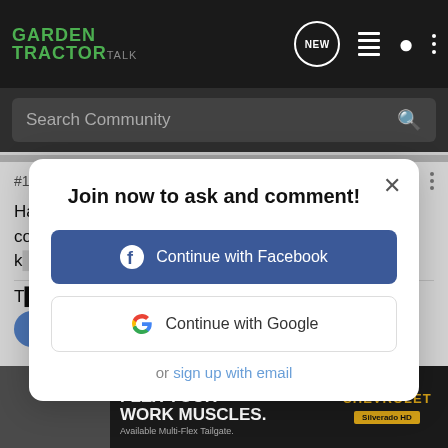GARDEN TRACTOR TALK
#11 · Mar 15, 2016
Have you tried with All States Ag Parts? They show a couple on th... o k...
[Figure (screenshot): Join now to ask and comment! modal dialog with Continue with Facebook button, Continue with Google button, and sign up with email link]
[Figure (photo): Chevrolet Silverado HD advertisement: FLEX YOUR WORK MUSCLES. Available Multi-Flex Tailgate.]